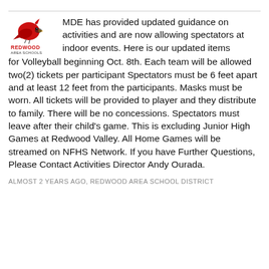[Figure (logo): Redwood Area Schools logo: red cardinal bird with yellow beak, text REDWOOD AREA SCHOOLS below]
MDE has provided updated guidance on activities and are now allowing spectators at indoor events. Here is our updated items for Volleyball beginning Oct. 8th. Each team will be allowed two(2) tickets per participant Spectators must be 6 feet apart and at least 12 feet from the participants. Masks must be worn. All tickets will be provided to player and they distribute to family. There will be no concessions. Spectators must leave after their child’s game. This is excluding Junior High Games at Redwood Valley. All Home Games will be streamed on NFHS Network. If you have Further Questions, Please Contact Activities Director Andy Ourada.
ALMOST 2 YEARS AGO, REDWOOD AREA SCHOOL DISTRICT